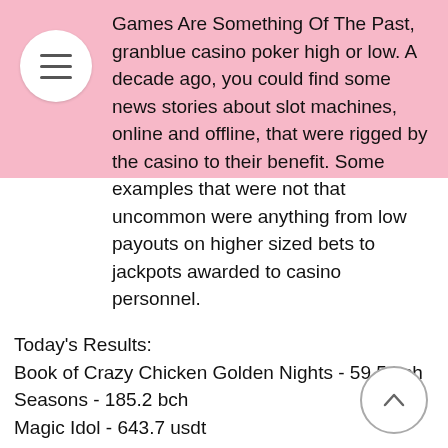Games Are Something Of The Past, granblue casino poker high or low. A decade ago, you could find some news stories about slot machines, online and offline, that were rigged by the casino to their benefit. Some examples that were not that uncommon were anything from low payouts on higher sized bets to jackpots awarded to casino personnel.
Today's Results:
Book of Crazy Chicken Golden Nights - 59.5 bch
Seasons - 185.2 bch
Magic Idol - 643.7 usdt
Persian Fortune - 107.6 usdt
Fruitoids - 738.1 ltc
Wild Spartans - 360.3 btc
Tiger and Dragon - 313.1 bch
Gift Rap - 642.6 eth
Wish Master - 552.7 btc
Wild Jack - 178.8 ltc